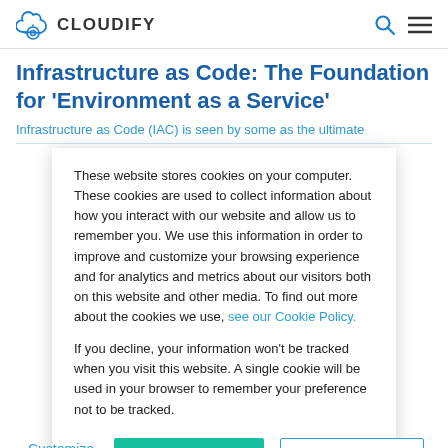CLOUDIFY
Infrastructure as Code: The Foundation for 'Environment as a Service'
Infrastructure as Code (IAC) is seen by some as the ultimate
These website stores cookies on your computer. These cookies are used to collect information about how you interact with our website and allow us to remember you. We use this information in order to improve and customize your browsing experience and for analytics and metrics about our visitors both on this website and other media. To find out more about the cookies we use, see our Cookie Policy.
If you decline, your information won't be tracked when you visit this website. A single cookie will be used in your browser to remember your preference not to be tracked.
Customize Settings   Accept   Decline